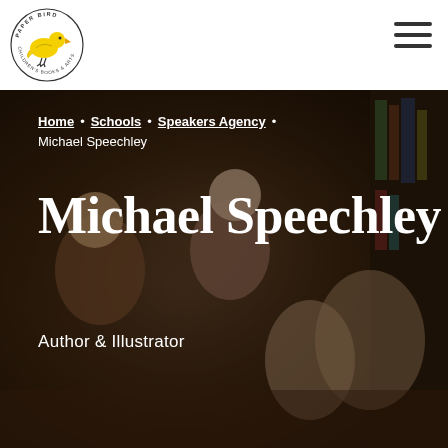[Figure (logo): Paper Bird Children's Books & Arts logo — yellow bird with circular text]
Paper Bird Children's Books & Arts — navigation header with hamburger menu
[Figure (photo): Children gathered around reading a book in a library/classroom setting, warm brown tones]
Home • Schools • Speakers Agency • Michael Speechley
Michael Speechley
Author & Illustrator